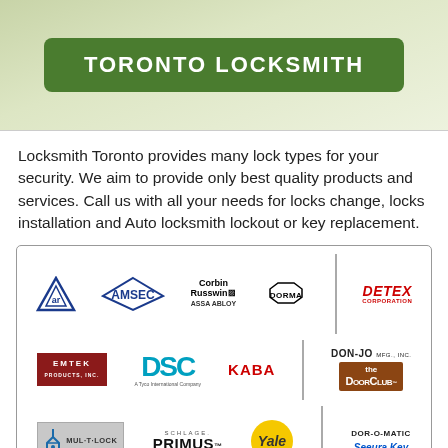TORONTO LOCKSMITH
Locksmith Toronto provides many lock types for your security. We aim to provide only best quality products and services. Call us with all your needs for locks change, locks installation and Auto locksmith lockout or key replacement.
[Figure (logo): Grid of brand logos: AR, AMSEC, Corbin Russwin ASSA ABLOY, DORMA, DETEX Corporation, EMTEK, DSC, KABA, DON-JO, The Door Club, MUL-T-LOCK, Schlage PRIMUS, Yale, DOR-O-MATIC, Seeura Key]
Our trained Toronto locksmiths specialize in emergency